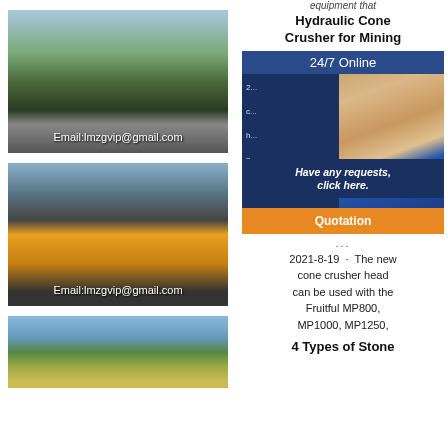[Figure (photo): Outdoor mining/quarry equipment facility with conveyor belts, green hills in background, email overlay]
Email:lmzgvip@gmail.com
[Figure (photo): Indoor warehouse with large yellow mobile cone crusher equipment, email overlay]
Email:lmzgvip@gmail.com
[Figure (photo): Outdoor landscape with green hills, partially visible at bottom]
equipment that
Hydraulic Cone Crusher for Mining
[Figure (infographic): 24/7 Online chat widget with blue background, woman with headset, have any requests click here, Quotation button]
2021-8-19 · The new cone crusher head can be used with the Fruitful MP800, MP1000, MP1250,
4 Types of Stone